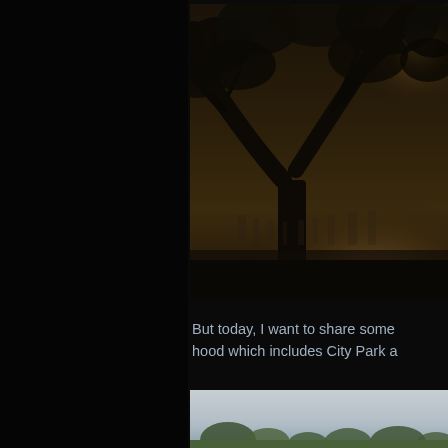[Figure (photo): A dark atmospheric outdoor scene with a large tree silhouetted against a bright glowing sun or light source shining through the branches, with misty foggy background showing faint outlines of buildings or structures in the distance. Dark, moody lighting with golden warm glow.]
But today, I want to share some hood which includes City Park a
[Figure (photo): A second outdoor photo partially visible, showing a light grey sky and the tops of trees or park scenery, cut off at the bottom of the page.]